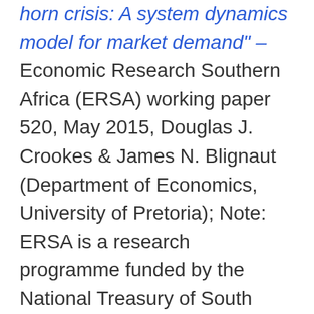horn crisis: A system dynamics model for market demand" – Economic Research Southern Africa (ERSA) working paper 520, May 2015, Douglas J. Crookes & James N. Blignaut (Department of Economics, University of Pretoria); Note: ERSA is a research programme funded by the National Treasury of South Africa